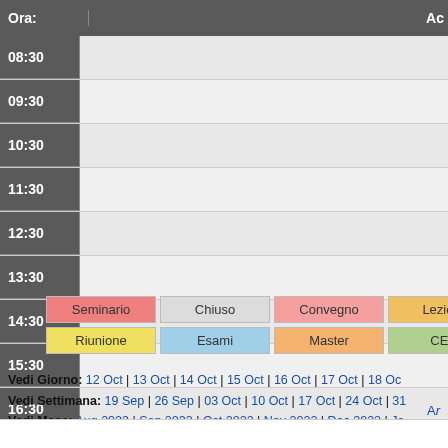| Ora: | A... |
| --- | --- |
| 08:30 |  |
| 09:30 |  |
| 10:30 |  |
| 11:30 |  |
| 12:30 |  |
| 13:30 |  |
| 14:30 |  |
| 15:30 |  |
| 16:30 |  |
| 17:30 |  |
| 18:30 |  |
[Figure (infographic): Legend showing color codes: Seminario (pink), Chiuso (light gray), Convegno (salmon), Lezioni (orange/yellow), Vacanza (gray), Riunione (yellow), Esami (light blue), Master (light orange), CEL (light green), Esterno (dark gray)]
Vedi Giorno: 12 Oct | 13 Oct | 14 Oct | 15 Oct | 16 Oct | 17 Oct | 18 Oc...
Vedi Settimana: 19 Sep | 26 Sep | 03 Oct | 10 Oct | 17 Oct | 24 Oct | 31...
Vedi Mese: Aug 2022 | Sep 2022 | Oct 2022 | Nov 2022 | Dec 2022 | Ja...
A...